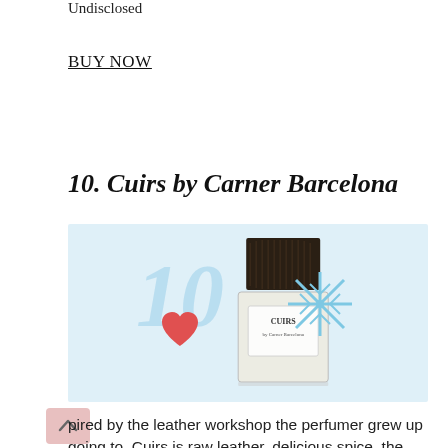Undisclosed
BUY NOW
10. Cuirs by Carner Barcelona
[Figure (photo): Product image of Cuirs perfume bottle by Carner Barcelona on a light blue background, with a large light-blue italic '10' watermark, a red heart icon, and a blue snowflake icon.]
pired by the leather workshop the perfumer grew up going to, Cuirs is raw leather, delicious spice, the wafting smoke of tobacco, soft creamy